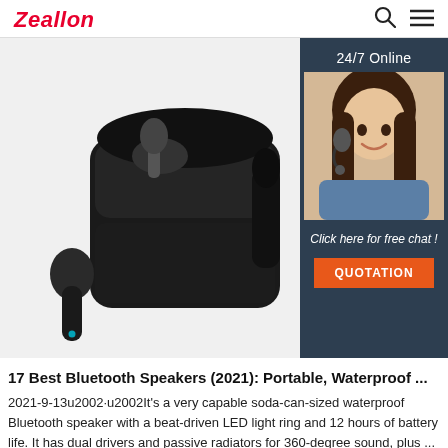Zeallon
[Figure (photo): Black true wireless earbuds with charging case open, showing one earbud inside and one earbud outside on the left. A sidebar widget on the right shows '24/7 Online', a customer service representative photo, 'Click here for free chat !' text, and an orange QUOTATION button.]
17 Best Bluetooth Speakers (2021): Portable, Waterproof ...
2021-9-13u2002·u2002It's a very capable soda-can-sized waterproof Bluetooth speaker with a beat-driven LED light ring and 12 hours of battery life. It has dual drivers and passive radiators for 360-degree sound, plus ...